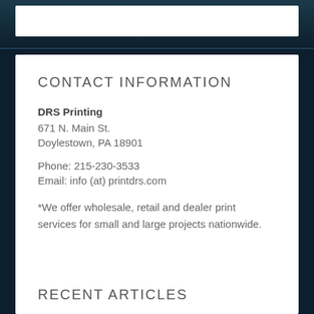CONTACT INFORMATION
DRS Printing
671 N. Main St.
Doylestown, PA 18901
Phone: 215-230-3533
Email: info (at) printdrs.com
*We offer wholesale, retail and dealer print services for small and large projects nationwide.
RECENT ARTICLES